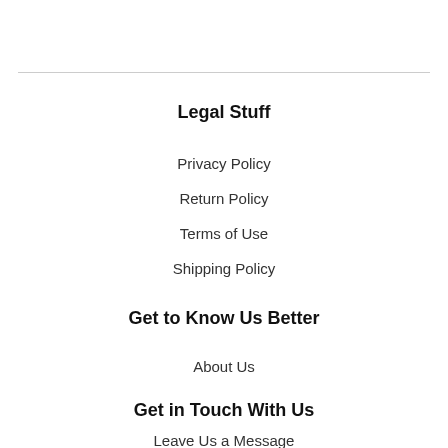Legal Stuff
Privacy Policy
Return Policy
Terms of Use
Shipping Policy
Get to Know Us Better
About Us
Get in Touch With Us
Leave Us a Message